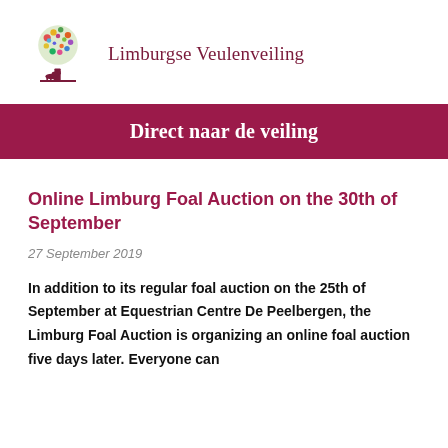[Figure (logo): Limburgse Veulenveiling logo with a colorful tree and horse, with text 'Limburgse Veulenveiling']
Direct naar de veiling
Online Limburg Foal Auction on the 30th of September
27 September 2019
In addition to its regular foal auction on the 25th of September at Equestrian Centre De Peelbergen, the Limburg Foal Auction is organizing an online foal auction five days later. Everyone can